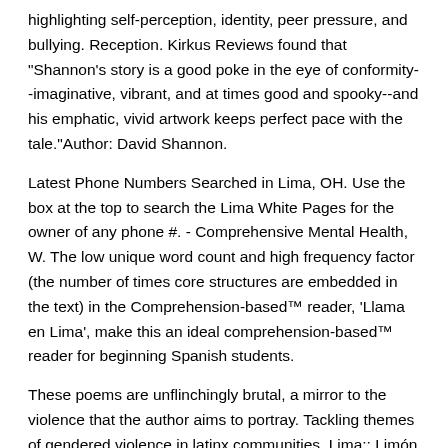highlighting self-perception, identity, peer pressure, and bullying. Reception. Kirkus Reviews found that "Shannon's story is a good poke in the eye of conformity--imaginative, vibrant, and at times good and spooky--and his emphatic, vivid artwork keeps perfect pace with the tale."Author: David Shannon.
Latest Phone Numbers Searched in Lima, OH. Use the box at the top to search the Lima White Pages for the owner of any phone #. - Comprehensive Mental Health, W. The low unique word count and high frequency factor (the number of times core structures are embedded in the text) in the Comprehension-based™ reader, 'Llama en Lima', make this an ideal comprehension-based™ reader for beginning Spanish students.
These poems are unflinchingly brutal, a mirror to the violence that the author aims to portray. Tackling themes of gendered violence in latinx communities, Lima:: Limón is a case study of women and girls experiences growing up in a sexist society, where machismo is inherited and taught to both boys and girls as stereotypes to follow to the letter: girls should be pure, the perfected mirrored /5.